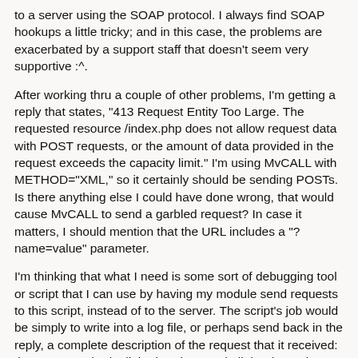to a server using the SOAP protocol. I always find SOAP hookups a little tricky; and in this case, the problems are exacerbated by a support staff that doesn't seem very supportive :^.
After working thru a couple of other problems, I'm getting a reply that states, "413 Request Entity Too Large. The requested resource /index.php does not allow request data with POST requests, or the amount of data provided in the request exceeds the capacity limit." I'm using MvCALL with METHOD="XML," so it certainly should be sending POSTs. Is there anything else I could have done wrong, that would cause MvCALL to send a garbled request? In case it matters, I should mention that the URL includes a "?name=value" parameter.
I'm thinking that what I need is some sort of debugging tool or script that I can use by having my module send requests to this script, instead of to the server. The script's job would be simply to write into a log file, or perhaps send back in the reply, a complete description of the request that it received: the HTTP method, all the headers, and all the data. That way, I can see exactly what my module is sending.
I don't think I can write this in Miva Script, because Miva Script doesn't provide a way to read the body of an incoming POST